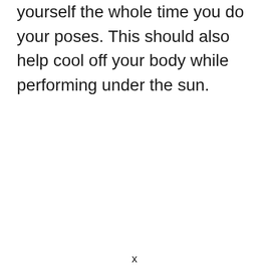yourself the whole time you do your poses. This should also help cool off your body while performing under the sun.
x